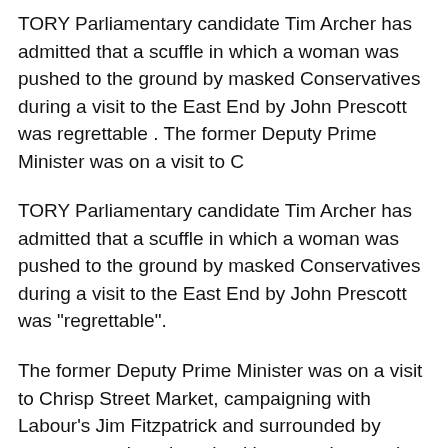TORY Parliamentary candidate Tim Archer has admitted that a scuffle in which a woman was pushed to the ground by masked Conservatives during a visit to the East End by John Prescott was regrettable . The former Deputy Prime Minister was on a visit to C
TORY Parliamentary candidate Tim Archer has admitted that a scuffle in which a woman was pushed to the ground by masked Conservatives during a visit to the East End by John Prescott was "regrettable".
The former Deputy Prime Minister was on a visit to Chrisp Street Market, campaigning with Labour's Jim Fitzpatrick and surrounded by supporters when three hecklers wearing masks, suddenly appeared.
The men, believed to be members of the Tower Hamlets Conservatives, started shoving people out the way and one woman, believed to be Labour council